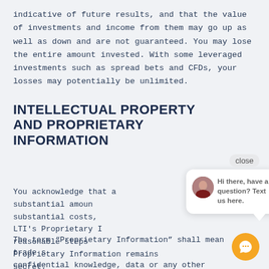indicative of future results, and that the value of investments and income from them may go up as well as down and are not guaranteed. You may lose the entire amount invested. With some leveraged investments such as spread bets and CFDs, your losses may potentially be unlimited.
INTELLECTUAL PROPERTY AND PROPRIETARY INFORMATION
You acknowledge that a substantial amount substantial costs, LTI's Proprietary I reasonable steps Proprietary Information remains secret.
[Figure (screenshot): Chat popup widget with avatar photo of a woman, text 'Hi there, have a question? Text us here.' and a close button. An orange circular chat button appears at bottom right.]
The term “Proprietary Information” shall mean trade s confidential knowledge, data or any other proprietary